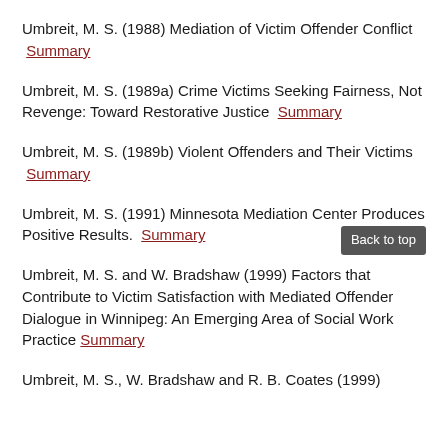Umbreit, M. S. (1988) Mediation of Victim Offender Conflict  Summary
Umbreit, M. S. (1989a) Crime Victims Seeking Fairness, Not Revenge: Toward Restorative Justice  Summary
Umbreit, M. S. (1989b) Violent Offenders and Their Victims  Summary
Umbreit, M. S. (1991) Minnesota Mediation Center Produces Positive Results.  Summary
Umbreit, M. S. and W. Bradshaw (1999) Factors that Contribute to Victim Satisfaction with Mediated Offender Dialogue in Winnipeg: An Emerging Area of Social Work Practice  Summary
Umbreit, M. S., W. Bradshaw and R. B. Coates (1999)